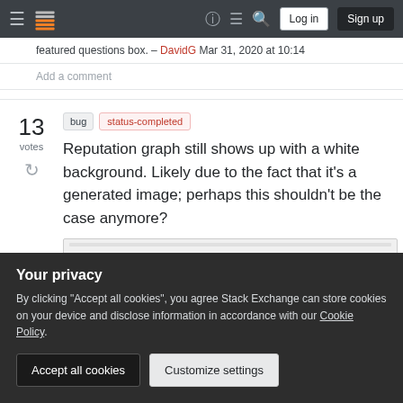Stack Exchange — Log in | Sign up
featured questions box. – DavidG Mar 31, 2020 at 10:14
Add a comment
13 votes
bug  status-completed
Reputation graph still shows up with a white background. Likely due to the fact that it's a generated image; perhaps this shouldn't be the case anymore?
Your privacy
By clicking "Accept all cookies", you agree Stack Exchange can store cookies on your device and disclose information in accordance with our Cookie Policy.
Accept all cookies   Customize settings